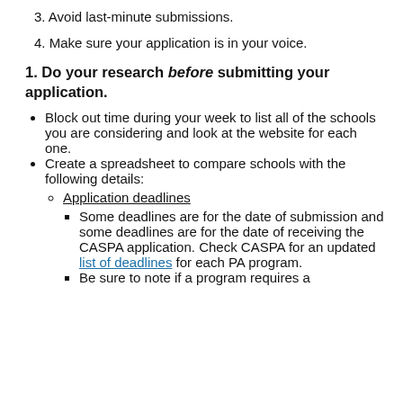3. Avoid last-minute submissions.
4. Make sure your application is in your voice.
1. Do your research before submitting your application.
Block out time during your week to list all of the schools you are considering and look at the website for each one.
Create a spreadsheet to compare schools with the following details:
Application deadlines
Some deadlines are for the date of submission and some deadlines are for the date of receiving the CASPA application. Check CASPA for an updated list of deadlines for each PA program.
Be sure to note if a program requires a